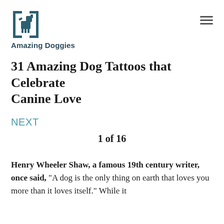Amazing Doggies
31 Amazing Dog Tattoos that Celebrate Canine Love
NEXT
1 of 16
Henry Wheeler Shaw, a famous 19th century writer, once said, “A dog is the only thing on earth that loves you more than it loves itself.” While it